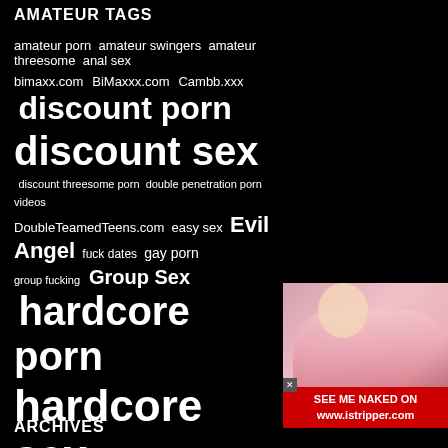AMATEUR TAGS
[Figure (infographic): Tag cloud on black background with various adult website tags in different font sizes indicating popularity. Tags include: amateur porn, amateur swingers, amateur threesome, anal sex, bimaxx.com, BiMaxxx.com, Cambb.xxx, discount porn, discount sex, discount threesome porn, double penetration porn videos, DoubleTeamedTeens.com, easy sex, Evil Angel, fuck dates, gay porn, group fucking, Group Sex, hardcore porn, hardcore sex, live cams, MMF porn, MMF porn videos, MMF Sex Videos, MMF teen porn videos, MMF teen sex videos, network pass, nsa girls, online chat, porn discount, porn network, myGF.com, SellYourGF.com, swingers sex, Teen Core Club Network, teen porn, teen sex, threesome cams, threesome porn, threesome, threesome sex, webcam porn, webcam sex, xxx, Young Libertines Network]
[Figure (photo): Blonde woman in pink bikini top advertisement for istripper.com with red banner saying SEE ME NAKED ON www.istripper.com]
ARCHIVES